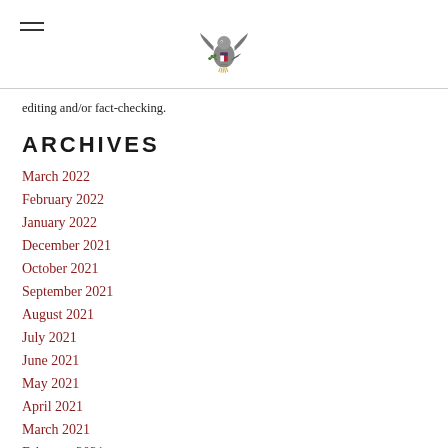[US Government Eagle Logo]
editing and/or fact-checking.
ARCHIVES
March 2022
February 2022
January 2022
December 2021
October 2021
September 2021
August 2021
July 2021
June 2021
May 2021
April 2021
March 2021
February 2021
January 2021